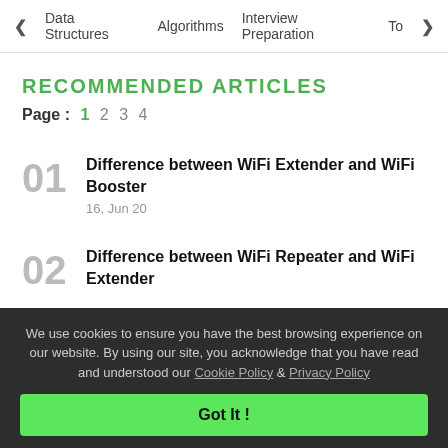< Data Structures   Algorithms   Interview Preparation   To>
RECOMMENDED ARTICLES
Page : 1 2 3 4
01 Difference between WiFi Extender and WiFi Booster
16, Jun 20
02 Difference between WiFi Repeater and WiFi Extender
We use cookies to ensure you have the best browsing experience on our website. By using our site, you acknowledge that you have read and understood our Cookie Policy & Privacy Policy
Got It !